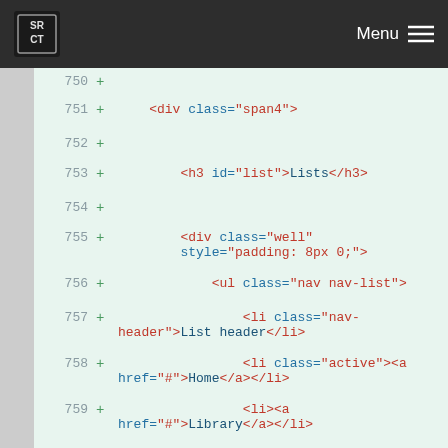[Figure (screenshot): Navigation bar with SRCT logo and Menu hamburger icon on dark background]
Code diff view showing HTML lines 750-763 with line numbers, plus signs, and syntax-highlighted code on light green background. Lines show HTML for a Bootstrap nav list component including div.span4, h3#list>Lists, div.well with padding style, ul.nav.nav-list, li.nav-header>List header, li.active>a[href=#]>Home, li>a[href=#]>Library, li>a[href=#]>Applications, li.nav-header>Another list header, li>a[href=#]>Profile, and start of li>a